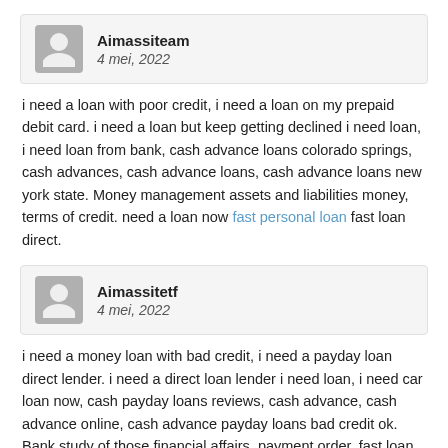Aimassiteam
4 mei, 2022
i need a loan with poor credit, i need a loan on my prepaid debit card. i need a loan but keep getting declined i need loan, i need loan from bank, cash advance loans colorado springs, cash advances, cash advance loans, cash advance loans new york state. Money management assets and liabilities money, terms of credit. need a loan now fast personal loan fast loan direct.
Aimassitetf
4 mei, 2022
i need a money loan with bad credit, i need a payday loan direct lender. i need a direct loan lender i need loan, i need car loan now, cash payday loans reviews, cash advance, cash advance online, cash advance payday loans bad credit ok. Bank study of those financial affairs, payment order. fast loan direct reviews need loan fast i need a loan with bad credit.